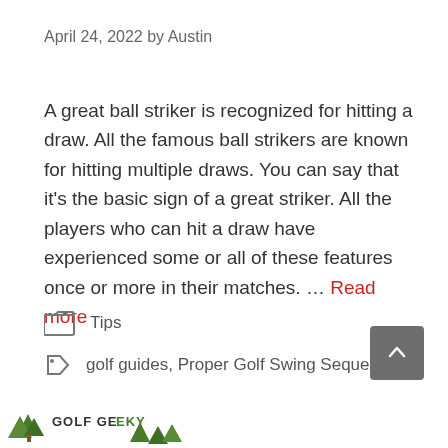April 24, 2022 by Austin
A great ball striker is recognized for hitting a draw. All the famous ball strikers are known for hitting multiple draws. You can say that it's the basic sign of a great striker. All the players who can hit a draw have experienced some or all of these features once or more in their matches. … Read more
Tips
golf guides, Proper Golf Swing Sequence
[Figure (logo): Golf Geeky website logo with tree icons and text 'GOLF GEEKY' at the bottom of the page]